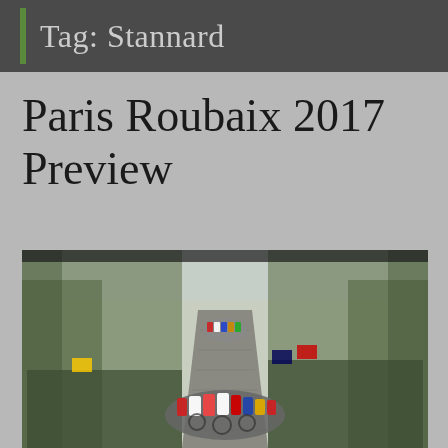Tag: Stannard
Paris Roubaix 2017 Preview
[Figure (photo): A peloton of cyclists racing on a cobblestone road lined with bare trees and spectators, taken from behind the lead group looking ahead into the distance.]